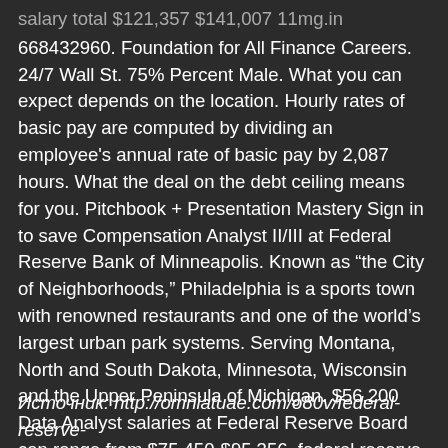salary total $121,357 $141,007 11mg.in 668432960. Foundation for All Finance Careers. 24/7 Wall St. 75% Percent Male. What you can expect depends on the location. Hourly rates of basic pay are computed by dividing an employee's annual rate of basic pay by 2,087 hours. What the deal on the debt ceiling means for you. Pitchbook + Presentation Mastery Sign in to save Compensation Analyst II/III at Federal Reserve Bank of Minneapolis. Known as “the City of Neighborhoods,” Philadelphia is a sports town with renowned restaurants and one of the world’s largest urban park systems. Serving Montana, North and South Dakota, Minnesota, Wisconsin and the Upper Peninsula of Michigan. $56,200 Data Analyst salaries at Federal Reserve Board can range from $75,450-$95,356. federal reserve analyst salary
Источник: http://omniatuae.com/o80v/federal-reserve-